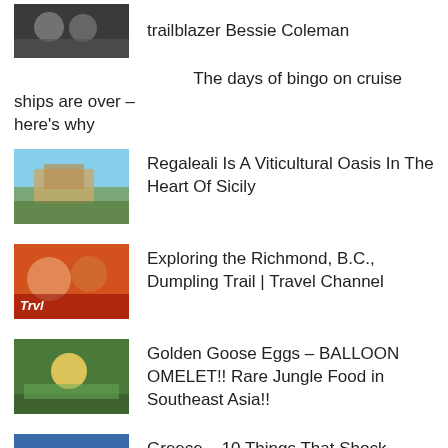trailblazer Bessie Coleman
The days of bingo on cruise ships are over – here's why
Regaleali Is A Viticultural Oasis In The Heart Of Sicily
Exploring the Richmond, B.C., Dumpling Trail | Travel Channel
Golden Goose Eggs – BALLOON OMELET!! Rare Jungle Food in Southeast Asia!!
Greece – 10 Things That Shock Tourists in Greece